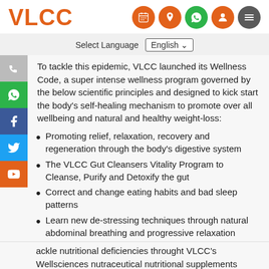VLCC
Select Language  English
To tackle this epidemic, VLCC launched its Wellness Code, a super intense wellness program governed by the below scientific principles and designed to kick start the body's self-healing mechanism to promote over all wellbeing and natural and healthy weight-loss:
Promoting relief, relaxation, recovery and regeneration through the body's digestive system
The VLCC Gut Cleansers Vitality Program to Cleanse, Purify and Detoxify the gut
Correct and change eating habits and bad sleep patterns
Learn new de-stressing techniques through natural abdominal breathing and progressive relaxation
ackle nutritional deficiencies throught VLCC's Wellsciences nutraceutical nutritional supplements